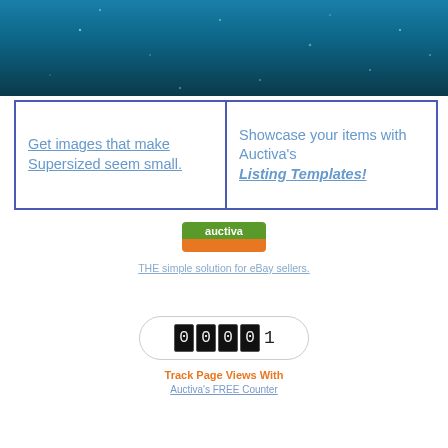[Figure (photo): Underwater/ocean-themed banner image with teal/dark blue gradient and light particles]
Get images that make Supersized seem small.
Showcase your items with Auctiva's Listing Templates!
[Figure (logo): Auctiva logo — green top half, orange bottom half with white 'auctiva' text]
THE simple solution for eBay sellers.
[Figure (other): Digital counter display showing 00001]
Track Page Views With
Auctiva's FREE Counter